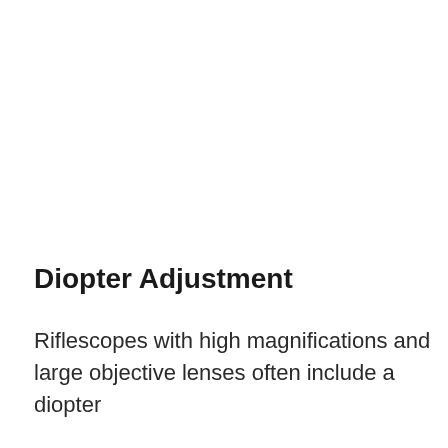Diopter Adjustment
Riflescopes with high magnifications and large objective lenses often include a diopter